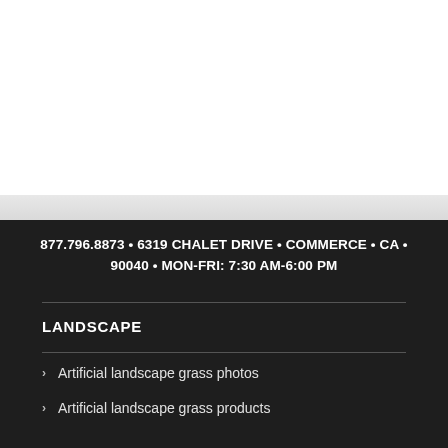877.796.8873 • 6319 CHALET DRIVE • COMMERCE • CA • 90040 • MON-FRI: 7:30 AM-6:00 PM
LANDSCAPE
Artificial landscape grass photos
Artificial landscape grass products